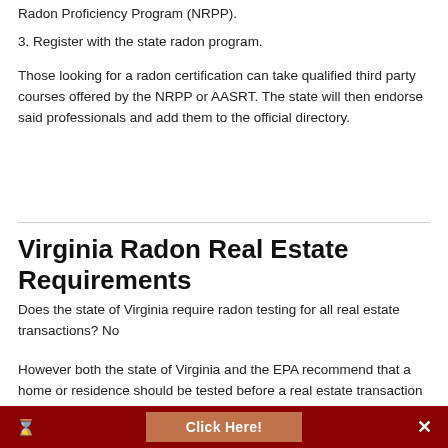Radon Proficiency Program (NRPP).
3. Register with the state radon program.
Those looking for a radon certification can take qualified third party courses offered by the NRPP or AASRT. The state will then endorse said professionals and add them to the official directory.
Virginia Radon Real Estate Requirements
Does the state of Virginia require radon testing for all real estate transactions? No
However both the state of Virginia and the EPA recommend that a home or residence should be tested before a real estate transaction is carried out. Even though Virginia does not require